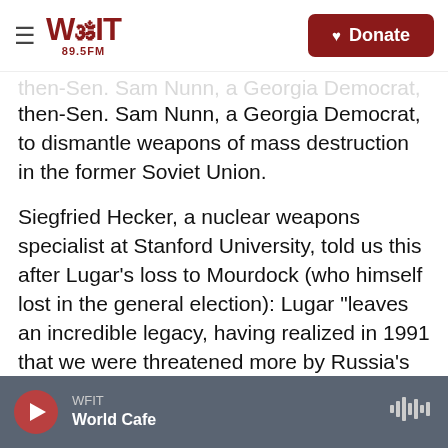WFIT 89.5FM — Donate
then-Sen. Sam Nunn, a Georgia Democrat, to dismantle weapons of mass destruction in the former Soviet Union.
Siegfried Hecker, a nuclear weapons specialist at Stanford University, told us this after Lugar's loss to Mourdock (who himself lost in the general election): Lugar "leaves an incredible legacy, having realized in 1991 that we were threatened more by Russia's weakness than its strength."
Lugar, elected mayor of Indianapolis at 35, also ran briefly for president in 1996.
WFIT — World Cafe